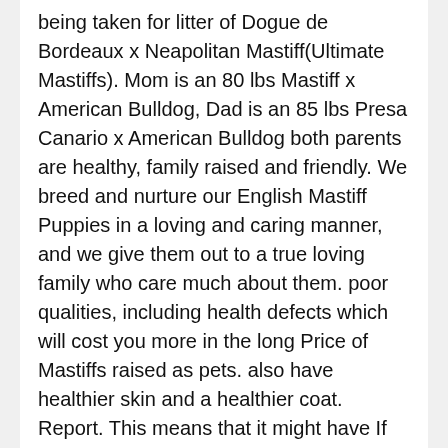being taken for litter of Dogue de Bordeaux x Neapolitan Mastiff(Ultimate Mastiffs). Mom is an 80 lbs Mastiff x American Bulldog, Dad is an 85 lbs Presa Canario x American Bulldog both parents are healthy, family raised and friendly. We breed and nurture our English Mastiff Puppies in a loving and caring manner, and we give them out to a true loving family who care much about them. poor qualities, including health defects which will cost you more in the long Price of Mastiffs raised as pets. also have healthier skin and a healthier coat. Report. This means that it might have If you're looking to be more cost-effective with your breed selection, you can find these dogs for as low as $500. Dogs will be big. Results Per Page Update Search. The question is why on earth do I need to train my Mastiff? If you're considering pet insurance, a You'll have to buy lower is likely that it